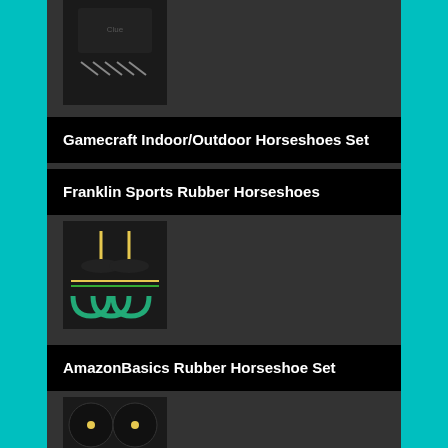[Figure (photo): Product image of a horseshoe set - dark colored box with horseshoes]
Gamecraft Indoor/Outdoor Horseshoes Set
Franklin Sports Rubber Horseshoes
[Figure (photo): Product image of Franklin Sports Rubber Horseshoes - colorful rubber horseshoes with stakes]
AmazonBasics Rubber Horseshoe Set
[Figure (photo): Product image of AmazonBasics Rubber Horseshoe Set - black rubber targets with blue and red horseshoes]
Franklin Sports Horseshoe Sets
[Figure (photo): Product image of Franklin Sports Horseshoe Sets - partially visible]